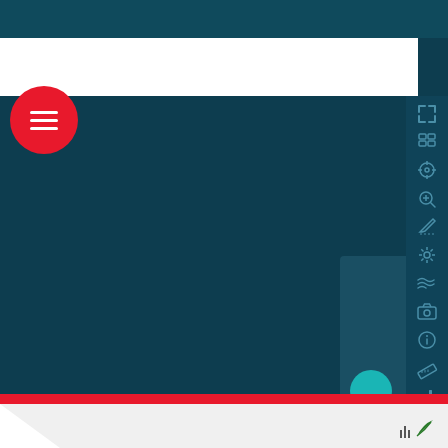[Figure (screenshot): A GIS/mapping application interface screenshot showing a dark teal map area, a white address/search bar at top, a red circular hamburger menu button on the left, a vertical toolbar with mapping icons on the right side, a teal circular button, and a logo in the bottom right corner.]